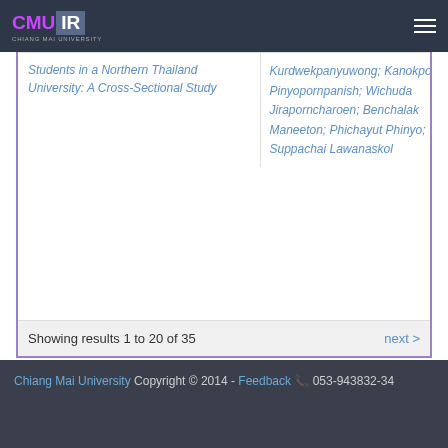CMU IR - Chiang Mai University
Students in a Northern Thailand University: A Cross-Sectional Study
Kurdwekpanyuwong; Kanokporn Pinyopornpanish; Wichuda Jiraporncharoen; Benchalak Maneeton; Phichayut Phinyo; Suppachai Lawanaskol
Showing results 1 to 20 of 35
next >
Chiang Mai University Copyright © 2014 - Feedback 053-943832-34